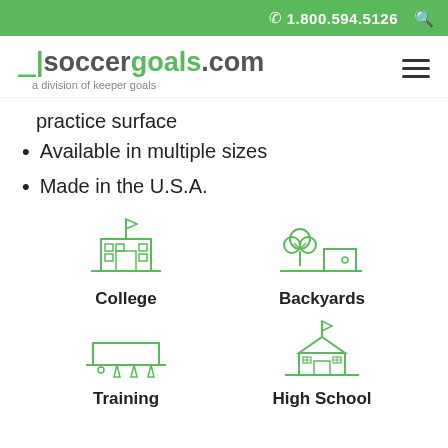1.800.594.5126
[Figure (logo): soccergoals.com logo with tagline 'a division of keeper goals' and hamburger menu icon]
practice surface
Available in multiple sizes
Made in the U.S.A.
[Figure (illustration): College icon - green outline of a college building with flag on top]
College
[Figure (illustration): Backyards icon - green outline of a tree and a house/shed]
Backyards
[Figure (illustration): Training icon - green outline of a soccer goal with training cones]
Training
[Figure (illustration): High School icon - green outline of a school building with flag]
High School